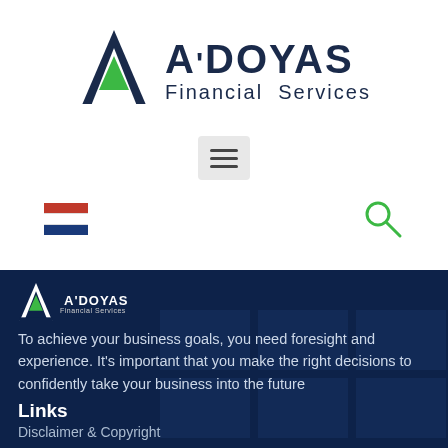[Figure (logo): A'DOYAS Financial Services logo — dark navy triangular A with green inner triangle, followed by bold A'DOYAS text and 'Financial Services' subtitle]
[Figure (screenshot): Hamburger menu button (three horizontal bars) on a light grey rounded rectangle background]
[Figure (infographic): Netherlands flag icon (red, white, blue horizontal stripes) and green magnifying glass search icon]
[Figure (logo): Small A'DOYAS Financial Services logo in white on dark navy footer background]
To achieve your business goals, you need foresight and experience. It’s important that you make the right decisions to confidently take your business into the future
Links
Disclaimer & Copyright